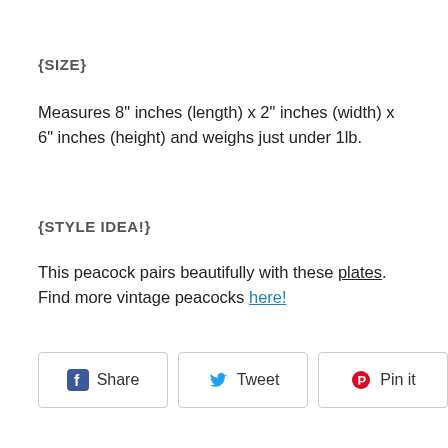{SIZE}
Measures 8" inches (length) x 2" inches (width) x 6" inches (height) and weighs just under 1lb.
{STYLE IDEA!}
This peacock pairs beautifully with these plates. Find more vintage peacocks here!
[Figure (other): Social sharing buttons: Share (Facebook), Tweet (Twitter), Pin it (Pinterest)]